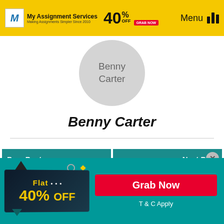[Figure (screenshot): Website header with My Assignment Services logo, 40% OFF badge, and Menu icon on yellow background]
[Figure (illustration): Circular avatar placeholder with text 'Benny Carter' inside]
Benny Carter
[Figure (screenshot): Two teal post navigation cards: 'Prev Post' with 'Design & Implement A Database for Felicity Stillwell' and 'Next Post' with 'Do Your Homework and Achieve Great Things in...']
[Figure (infographic): Flat 40% OFF promotional banner with Grab Now button and T & C Apply text]